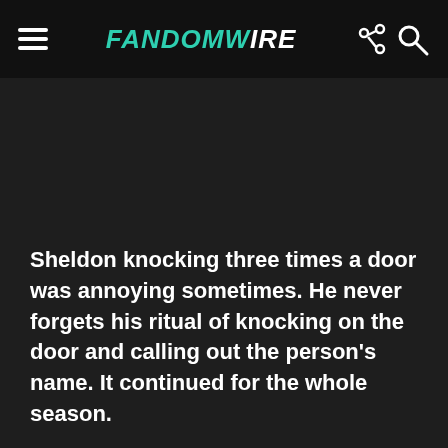FandomWire
Sheldon knocking three times a door was annoying sometimes. He never forgets his ritual of knocking on the door and calling out the person's name. It continued for the whole season.